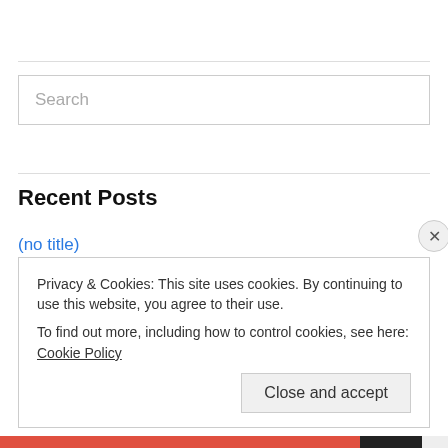[Figure (other): Search input box with placeholder text 'Search']
Recent Posts
(no title)
Theater Theater Theater
Mix and match
Saying goodbye is rubbish
Privacy & Cookies: This site uses cookies. By continuing to use this website, you agree to their use.
To find out more, including how to control cookies, see here: Cookie Policy
Close and accept